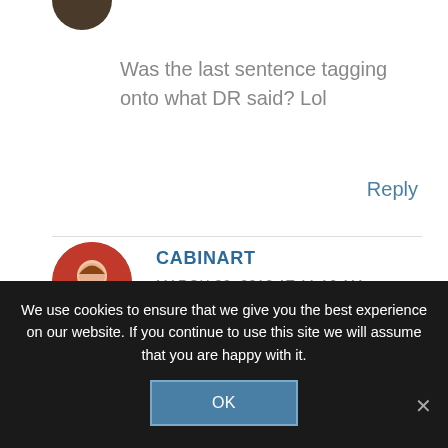[Figure (photo): Partial circular avatar image at top, cropped]
Was the last sentence tagging onto what DR said?  Lol
Reply
CABINART
MARCH 22, 2012 AT 11:16 AM
[Figure (photo): Circular avatar photo of a woman with red flowers in background]
We use cookies to ensure that we give you the best experience on our website. If you continue to use this site we will assume that you are happy with it.
OK